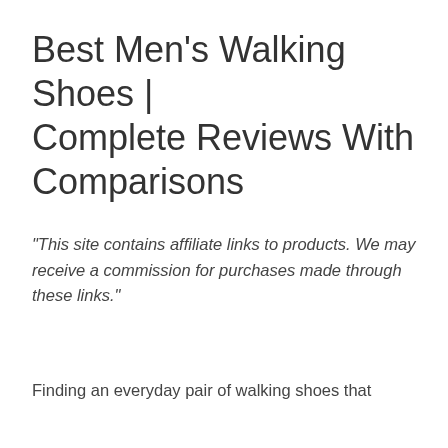Best Men's Walking Shoes | Complete Reviews With Comparisons
"This site contains affiliate links to products. We may receive a commission for purchases made through these links."
Finding an everyday pair of walking shoes that